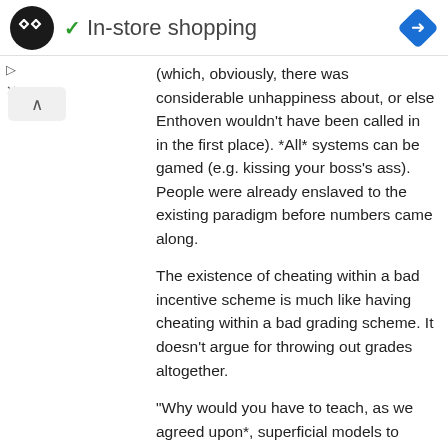In-store shopping
(which, obviously, there was considerable unhappiness about, or else Enthoven wouldn't have been called in in the first place). *All* systems can be gamed (e.g. kissing your boss's ass). People were already enslaved to the existing paradigm before numbers came along.
The existence of cheating within a bad incentive scheme is much like having cheating within a bad grading scheme. It doesn't argue for throwing out grades altogether.
"Why would you have to teach, as we agreed upon*, superficial models to uncover "knowledge", if you weren't planning on employing it in some manner, whether it be for